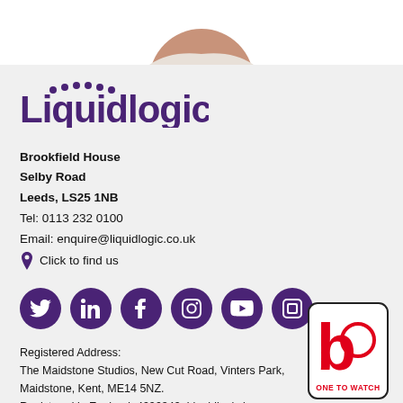[Figure (illustration): Partial view of a person (shoulders/neck area) at top of page, white background]
[Figure (logo): Liquidlogic logo in purple with dotted accents above letters i, q, u, i]
Brookfield House
Selby Road
Leeds, LS25 1NB
Tel: 0113 232 0100
Email: enquire@liquidlogic.co.uk
📍 Click to find us
[Figure (infographic): Six purple circular social media icons: Twitter, LinkedIn, Facebook, Instagram, YouTube, and a custom square icon]
Registered Address:
The Maidstone Studios, New Cut Road, Vinters Park, Maidstone, Kent, ME14 5NZ.
Registered in England: 4996349. Liquidlogic is a
[Figure (logo): One to Watch badge — white rounded rectangle with red 'b' logo and text 'ONE TO WATCH' in red]